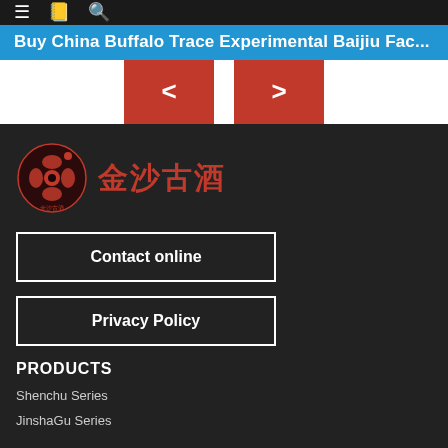≡ 📖 🔍
Buy China Buffalo Trace Experimental Baijiu Fac...
[Figure (other): Navigation pagination buttons: left arrow (<) and right arrow (>) in red rectangles]
[Figure (logo): Jinsha Gu Jiu brand logo with red Chinese characters and emblem]
Contact online
Privacy Policy
PRODUCTS
Shenchu Series
JinshaGu Series